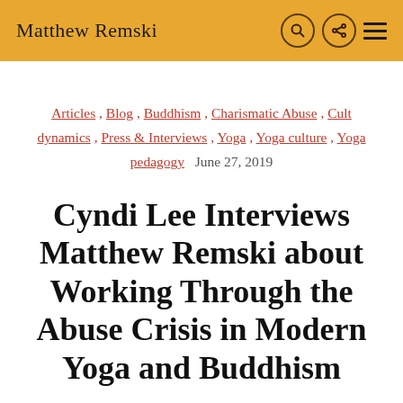Matthew Remski
Articles , Blog , Buddhism , Charismatic Abuse , Cult dynamics , Press & Interviews , Yoga , Yoga culture , Yoga pedagogy   June 27, 2019
Cyndi Lee Interviews Matthew Remski about Working Through the Abuse Crisis in Modern Yoga and Buddhism (transcript)